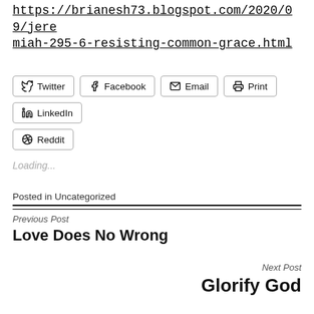https://brianesh73.blogspot.com/2020/09/jeremiah-295-6-resisting-common-grace.html
Twitter Facebook Email Print LinkedIn Reddit
Loading...
Posted in Uncategorized
Previous Post
Love Does No Wrong
Next Post
Glorify God